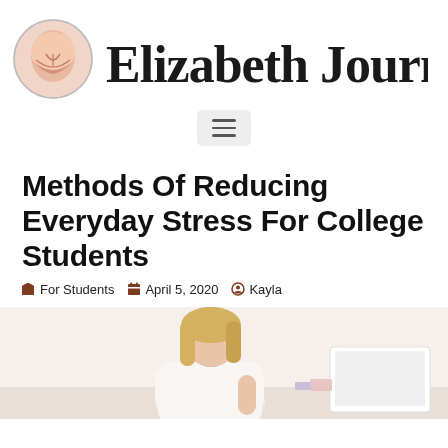[Figure (logo): Elizabeth Journals blog logo with circular illustration and cursive script text]
[Figure (other): Hamburger menu icon on light gray background]
Methods Of Reducing Everyday Stress For College Students
For Students  April 5, 2020  Kayla
[Figure (photo): Photo of a blonde woman in a white top sitting at a desk with a laptop and notebook]